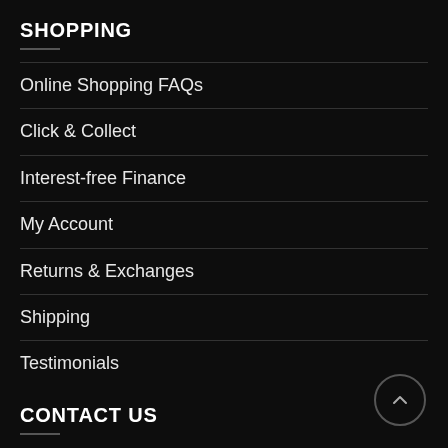SHOPPING
Online Shopping FAQs
Click & Collect
Interest-free Finance
My Account
Returns & Exchanges
Shipping
Testimonials
CONTACT US
11/53-57 Rimfire Drive